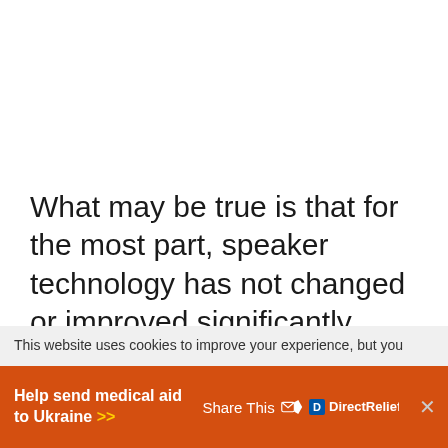What may be true is that for the most part, speaker technology has not changed or improved significantly. However, comparing 20-50 year-old speakers to brand-new equipment,
This website uses cookies to improve your experience, but you
[Figure (infographic): Orange ad banner: 'Help send medical aid to Ukraine >>' on left; 'Share This' with share icon and DirectRelief logo in center; close (x) button on right.]